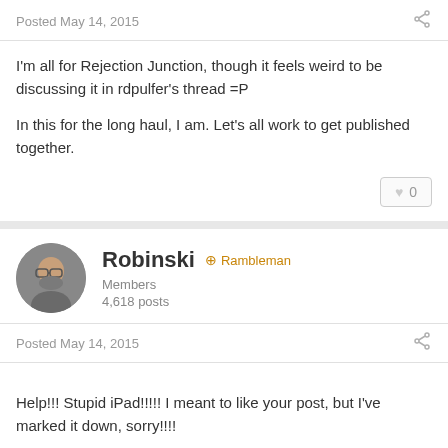Posted May 14, 2015
I'm all for Rejection Junction, though it feels weird to be discussing it in rdpulfer's thread =P

In this for the long haul, I am. Let's all work to get published together.
Robinski  ✦ Rambleman
Members
4,618 posts
Posted May 14, 2015
Help!!! Stupid iPad!!!!! I meant to like your post, but I've marked it down, sorry!!!!